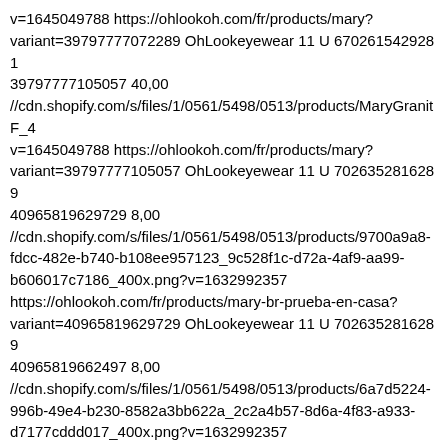v=1645049788 https://ohlookoh.com/fr/products/mary?variant=39797777072289 OhLookeyewear 11 U 6702615429281 39797777105057 40,00 //cdn.shopify.com/s/files/1/0561/5498/0513/products/MaryGranitF_4 v=1645049788 https://ohlookoh.com/fr/products/mary?variant=39797777105057 OhLookeyewear 11 U 7026352816289 40965819629729 8,00 //cdn.shopify.com/s/files/1/0561/5498/0513/products/9700a9a8-fdcc-482e-b740-b108ee957123_9c528f1c-d72a-4af9-aa99-b606017c7186_400x.png?v=1632992357 https://ohlookoh.com/fr/products/mary-br-prueba-en-casa?variant=40965819629729 OhLookeyewear 11 U 7026352816289 40965819662497 8,00 //cdn.shopify.com/s/files/1/0561/5498/0513/products/6a7d5224-996b-49e4-b230-8582a3bb622a_2c2a4b57-8d6a-4f83-a933-d7177cddd017_400x.png?v=1632992357 https://ohlookoh.com/fr/products/mary-br-prueba-en-casa?variant=40965819662497 OhLookeyewear 11 U 7026352816289 40965819695265 8,00 //cdn.shopify.com/s/files/1/0561/5498/0513/products/df7bad3e-c5df-417d-90e5-fbcbc683c597_c914e106-ab9b-45de-a3d6-7299db011e1d_400x.png?v=1632992357 https://ohlookoh.com/fr/products/mary-br-prueba-en-casa?variant=40965819695265 OhLookeyewear 11 U 7026352816289 40965819728033 8,00